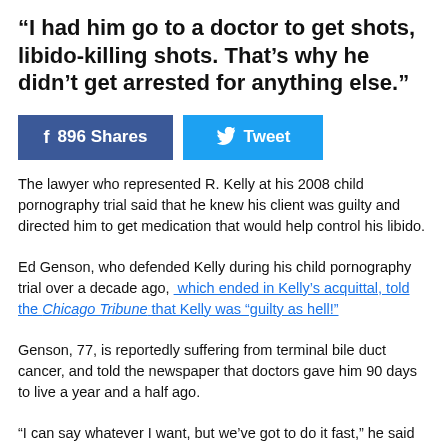“I had him go to a doctor to get shots, libido-killing shots. That’s why he didn’t get arrested for anything else.”
[Figure (infographic): Social sharing buttons: Facebook button showing 896 Shares and a Twitter Tweet button]
The lawyer who represented R. Kelly at his 2008 child pornography trial said that he knew his client was guilty and directed him to get medication that would help control his libido.
Ed Genson, who defended Kelly during his child pornography trial over a decade ago, which ended in Kelly’s acquittal, told the Chicago Tribune that Kelly was “guilty as hell!”
Genson, 77, is reportedly suffering from terminal bile duct cancer, and told the newspaper that doctors gave him 90 days to live a year and a half ago.
“I can say whatever I want, but we’ve got to do it fast,” he said